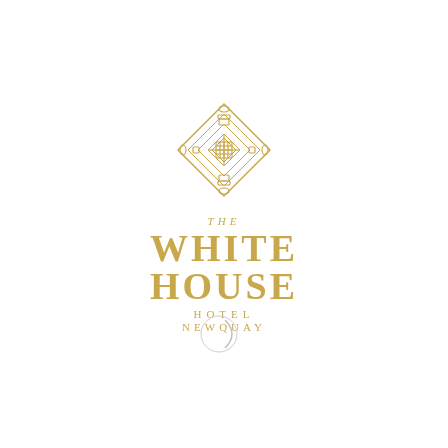[Figure (logo): The White House Hotel Newquay logo — gold Art Deco geometric diamond emblem above the hotel name in gold lettering, with a small circular icon below]
THE WHITE HOUSE HOTEL NEWQUAY